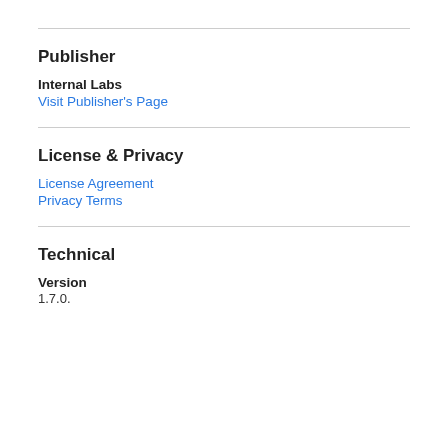Publisher
Internal Labs
Visit Publisher's Page
License & Privacy
License Agreement
Privacy Terms
Technical
Version
1.7.0.